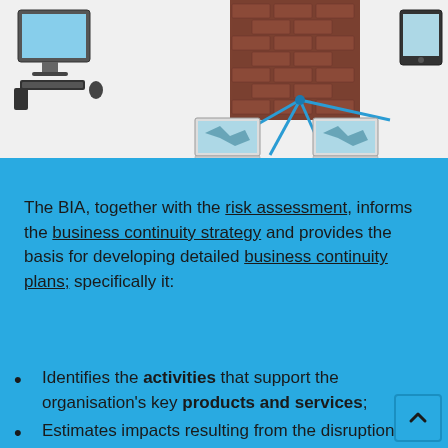[Figure (illustration): Network/IT security illustration showing computers, laptops, a brick wall firewall, and network connections on a white background.]
The BIA, together with the risk assessment, informs the business continuity strategy and provides the basis for developing detailed business continuity plans; specifically it:
Identifies the activities that support the organisation's key products and services;
Estimates impacts resulting from the disruption of these activities and determines how these vary over